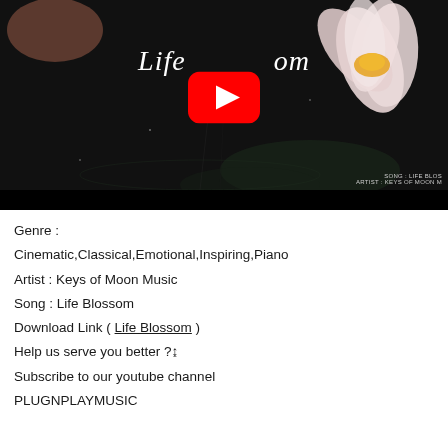[Figure (screenshot): YouTube video thumbnail showing a water lily / lotus flower on dark background with title 'Life Blossom' and a red YouTube play button overlay. Bottom right shows 'SONG : LIFE BLOS' and 'ARTIST : KEYS OF MOON M']
Genre :
Cinematic,Classical,Emotional,Inspiring,Piano
Artist : Keys of Moon Music
Song : Life Blossom
Download Link ( Life Blossom )
Help us serve you better ?↨
Subscribe to our youtube channel
PLUGNPLAYMUSIC